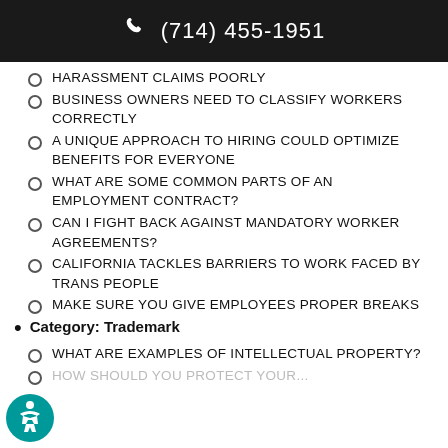(714) 455-1951
HARASSMENT CLAIMS POORLY
BUSINESS OWNERS NEED TO CLASSIFY WORKERS CORRECTLY
A UNIQUE APPROACH TO HIRING COULD OPTIMIZE BENEFITS FOR EVERYONE
WHAT ARE SOME COMMON PARTS OF AN EMPLOYMENT CONTRACT?
CAN I FIGHT BACK AGAINST MANDATORY WORKER AGREEMENTS?
CALIFORNIA TACKLES BARRIERS TO WORK FACED BY TRANS PEOPLE
MAKE SURE YOU GIVE EMPLOYEES PROPER BREAKS
Category: Trademark
WHAT ARE EXAMPLES OF INTELLECTUAL PROPERTY?
HOW SHOULD YOU PROTECT YOUR INTELLECTUAL PROPERTY?